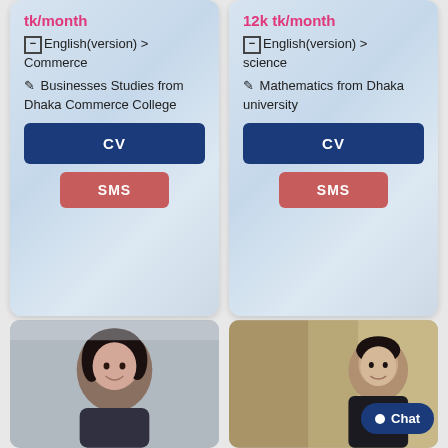tk/month
English(version) > Commerce
Businesses Studies from Dhaka Commerce College
CV
SMS
12k tk/month
English(version) > science
Mathematics from Dhaka university
CV
SMS
[Figure (photo): Smiling young woman with dark hair, profile photo of a tutor]
[Figure (photo): Young man sitting indoors, profile photo of a tutor]
Chat